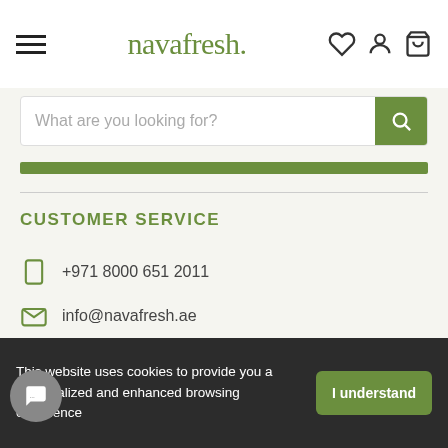navafresh. [hamburger menu, heart icon, user icon, cart icon]
What are you looking for?
CUSTOMER SERVICE
+971 8000 651 2011
info@navafresh.ae
[Figure (logo): Payment method badges: Amex, Apple Pay, Mastercard, Visa, Google Pay, Discover]
This website uses cookies to provide you a personalized and enhanced browsing experience